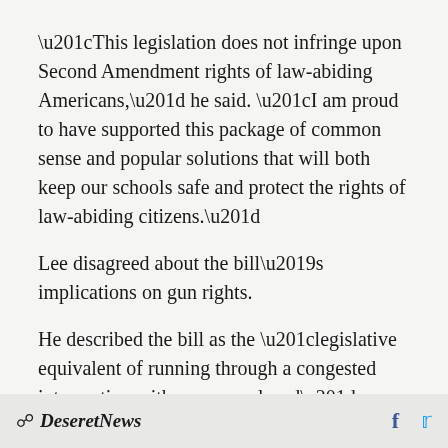“This legislation does not infringe upon Second Amendment rights of law-abiding Americans,” he said. “I am proud to have supported this package of common sense and popular solutions that will both keep our schools safe and protect the rights of law-abiding citizens.”
Lee disagreed about the bill’s implications on gun rights.
He described the bill as the “legislative equivalent of running through a congested intersection with our eyes closed” during Senate debate on
Deseret News